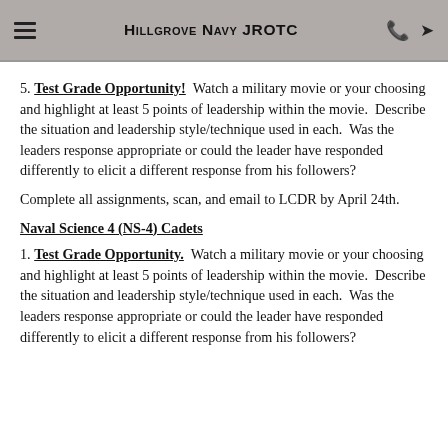Hillgrove Navy JROTC
5. Test Grade Opportunity! Watch a military movie or your choosing and highlight at least 5 points of leadership within the movie. Describe the situation and leadership style/technique used in each. Was the leaders response appropriate or could the leader have responded differently to elicit a different response from his followers?
Complete all assignments, scan, and email to LCDR by April 24th.
Naval Science 4 (NS-4) Cadets
1. Test Grade Opportunity. Watch a military movie or your choosing and highlight at least 5 points of leadership within the movie. Describe the situation and leadership style/technique used in each. Was the leaders response appropriate or could the leader have responded differently to elicit a different response from his followers?